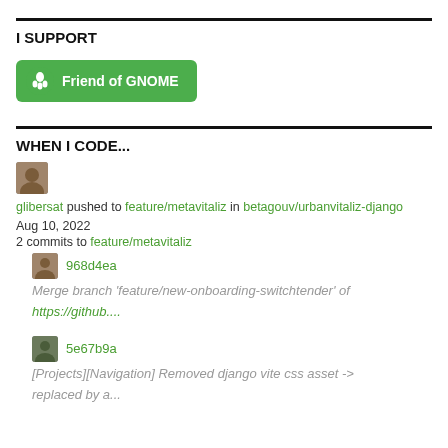I SUPPORT
[Figure (illustration): Green 'Friend of GNOME' button with GNOME logo (white footprint icon on green background)]
WHEN I CODE...
glibersat pushed to feature/metavitaliz in betagouv/urbanvitaliz-django
Aug 10, 2022
2 commits to feature/metavitaliz
968d4ea
Merge branch 'feature/new-onboarding-switchtender' of https://github....
5e67b9a
[Projects][Navigation] Removed django vite css asset -> replaced by a...